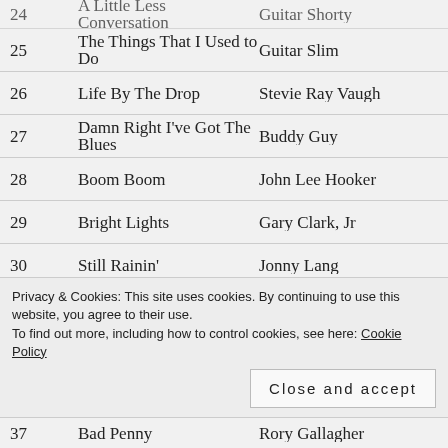| # | Title | Artist |
| --- | --- | --- |
| 24 | A Little Less Conversation | Guitar Shorty |
| 25 | The Things That I Used to Do | Guitar Slim |
| 26 | Life By The Drop | Stevie Ray Vaugh… |
| 27 | Damn Right I've Got The Blues | Buddy Guy |
| 28 | Boom Boom | John Lee Hooker |
| 29 | Bright Lights | Gary Clark, Jr |
| 30 | Still Rainin' | Jonny Lang |
| 31 | Sweet Home Chicago | Peter Green |
| 32 | Thing Called Love | Bonnie Raitt |
| 33 | Green Onions | Booker T. & The M… |
| 34 | The Midnight Special | Leadbelly |
| 37 | Bad Penny | Rory Gallagher |
Privacy & Cookies: This site uses cookies. By continuing to use this website, you agree to their use.
To find out more, including how to control cookies, see here: Cookie Policy
Close and accept